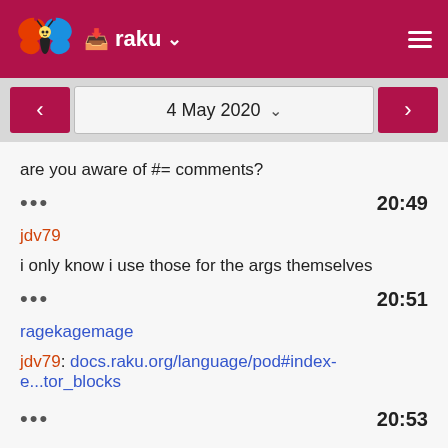raku
4 May 2020
are you aware of #= comments?
• • •   20:49
jdv79
i only know i use those for the args themselves
• • •   20:51
ragekagemage
jdv79: docs.raku.org/language/pod#index-e...tor_blocks
• • •   20:53